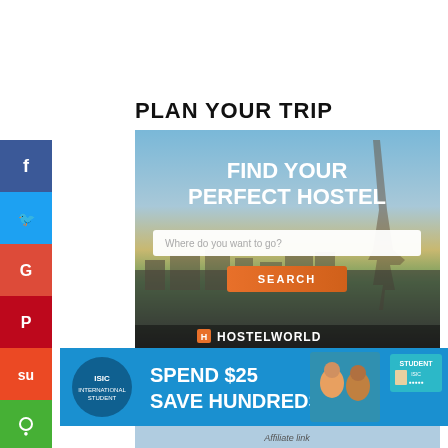PLAN YOUR TRIP
[Figure (screenshot): Hostelworld advertisement banner showing Paris skyline with Eiffel Tower. Text reads 'FIND YOUR PERFECT HOSTEL' with a search box 'Where do you want to go?' and orange SEARCH button. Hostelworld logo at bottom.]
[Figure (screenshot): ISIC (International Student Identity Card) advertisement. Blue background with text 'SPEND $25 SAVE HUNDREDS!' showing young travelers and an ISIC card.]
[Figure (screenshot): Bottom partial travel image visible, with 'Affiliate link' text.]